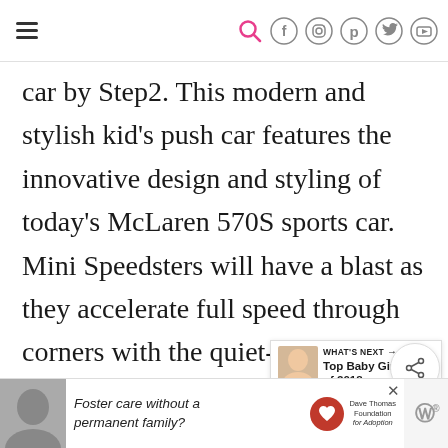Navigation header with hamburger menu and social icons (search, Facebook, Instagram, Pinterest, Twitter, YouTube)
car by Step2. This modern and stylish kid's push car features the innovative design and styling of today's McLaren 570S sports car. Mini Speedsters will have a blast as they accelerate full speed through corners with the quiet-ride whisper wheels. While shifting gears, Junior car drivers can use the interactive steering wheel to rev their engines. This dream car is sure to turn heads walks through the neighborhood or
[Figure (screenshot): WHAT'S NEXT panel with baby image and title 'Top Baby Girl Gifts of 2018']
[Figure (screenshot): Advertisement banner: 'Foster care without a permanent family?' with Dave Thomas Foundation for Adoption logo]